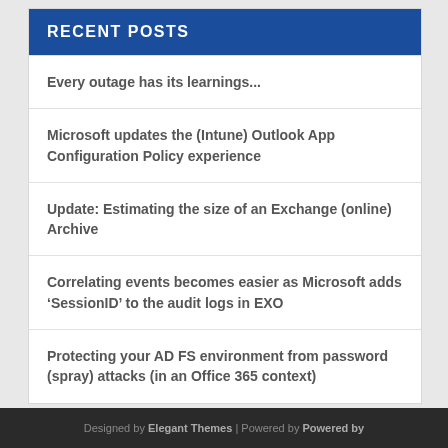RECENT POSTS
Every outage has its learnings...
Microsoft updates the (Intune) Outlook App Configuration Policy experience
Update: Estimating the size of an Exchange (online) Archive
Correlating events becomes easier as Microsoft adds ‘SessionID’ to the audit logs in EXO
Protecting your AD FS environment from password (spray) attacks (in an Office 365 context)
Designed by Elegant Themes | Powered by Powered by